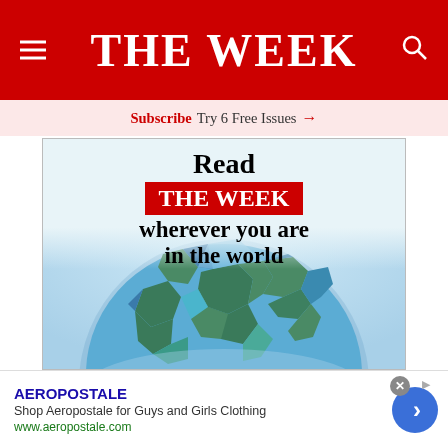THE WEEK
Subscribe  Try 6 Free Issues →
[Figure (illustration): Advertisement for The Week magazine showing text 'Read THE WEEK wherever you are in the world' over a low-poly globe illustration]
AEROPOSTALE
Shop Aeropostale for Guys and Girls Clothing
www.aeropostale.com